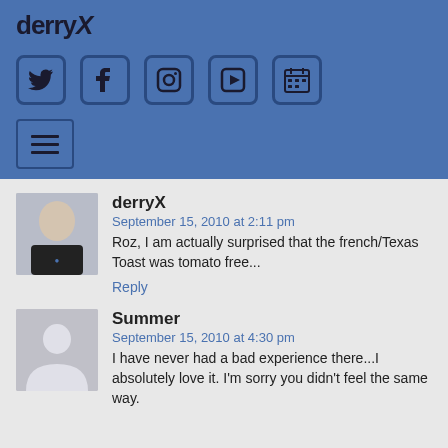derryX
[Figure (screenshot): Social media icon buttons: Twitter, Facebook, Instagram, YouTube, Calendar]
[Figure (screenshot): Hamburger menu navigation button]
derryX
September 15, 2010 at 2:11 pm
Roz, I am actually surprised that the french/Texas Toast was tomato free...
Reply
Summer
September 15, 2010 at 4:30 pm
I have never had a bad experience there...I absolutely love it. I'm sorry you didn't feel the same way.